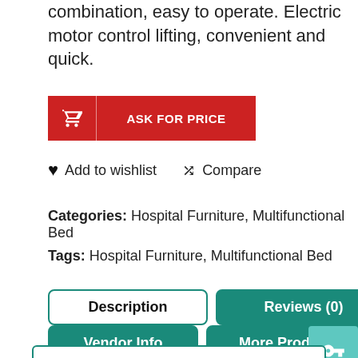combination, easy to operate. Electric motor control lifting, convenient and quick.
ASK FOR PRICE
♥ Add to wishlist   ⇄ Compare
Categories: Hospital Furniture, Multifunctional Bed
Tags: Hospital Furniture, Multifunctional Bed
Description
Reviews (0)
Vendor Info
More Products
The bed surface is made up of high quality cold-rolled punching steel plate. One- click central brake  lock four casters at the same time. ABS